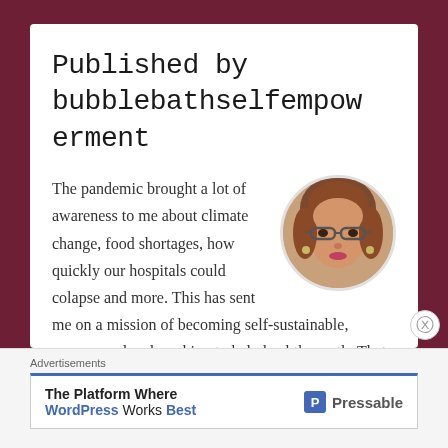Published by bubblebathselfempowerment
The pandemic brought a lot of awareness to me about climate change, food shortages, how quickly our hospitals could colapse and more. This has sent me on a mission of becoming self-sustainable, empowered and working to help heal the earth. That is what the focus of this
[Figure (photo): Circular profile photo of a woman with brown hair and glasses, wearing earrings, smiling]
Advertisements
The Platform Where WordPress Works Best — Pressable